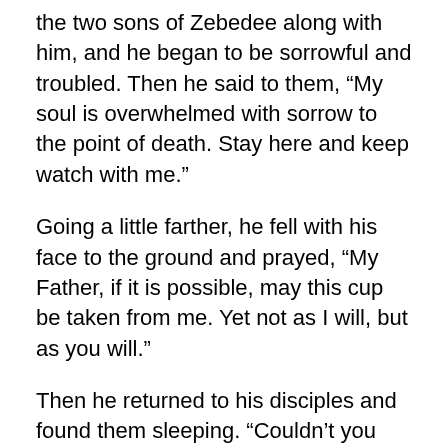the two sons of Zebedee along with him, and he began to be sorrowful and troubled. Then he said to them, “My soul is overwhelmed with sorrow to the point of death. Stay here and keep watch with me.”
Going a little farther, he fell with his face to the ground and prayed, “My Father, if it is possible, may this cup be taken from me. Yet not as I will, but as you will.”
Then he returned to his disciples and found them sleeping. “Couldn’t you men keep watch with me for one hour?” he asked Peter. “Watch and pray so that you will not fall into temptation. The spirit is willing, but the flesh is weak.”